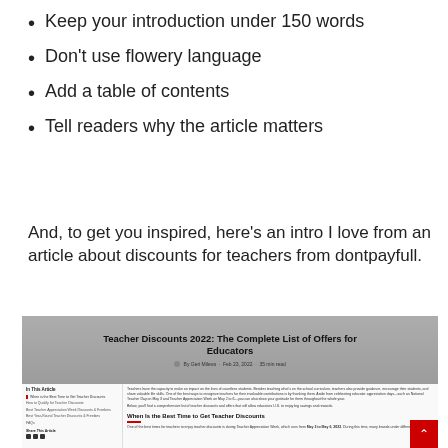Keep your introduction under 150 words
Don't use flowery language
Add a table of contents
Tell readers why the article matters
And, to get you inspired, here's an intro I love from an article about discounts for teachers from dontpayfull.
[Figure (screenshot): Screenshot of a webpage titled 'Teacher Discounts 2022: The Complete List of Offers for Educators' from dontpayfull. Shows hero image with title, author byline 'By Geri Mileva · Feb 23, 2022 · 35 min read', a sidebar with table of contents links, and article body text about teacher discounts.]